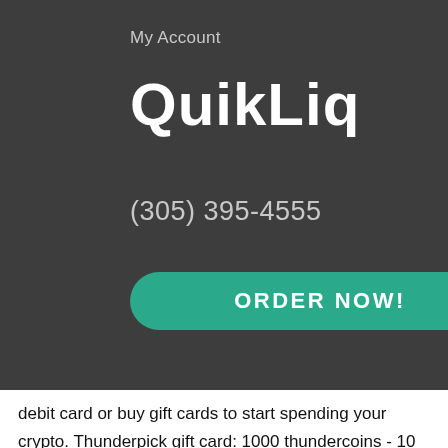My Account
QuikLiq
(305) 395-4555
ORDER NOW!
debit card or buy gift cards to start spending your crypto. Thunderpick gift card: 1000 thundercoins - 10 eur prepaid cd key. Of gift cards that can be later exchanged for additional bonuses and awards. Redeem them at www. Com/redeem-card and buy some. How to buy gift cards or top up your mobile with crypto and coinsbee|gamefi twitter btc bitcoin $44. Thunderpick wants to reward loyal customers. In order to obtain reload bonuses, you must purchase gift cards in the gift card center and redeem. Is a digital gift card platform that allows you to